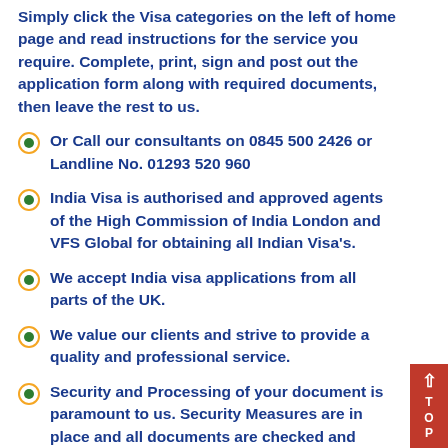Simply click the Visa categories on the left of home page and read instructions for the service you require. Complete, print, sign and post out the application form along with required documents, then leave the rest to us.
Or Call our consultants on 0845 500 2426 or Landline No. 01293 520 960
India Visa is authorised and approved agents of the High Commission of India London and VFS Global for obtaining all Indian Visa's.
We accept India visa applications from all parts of the UK.
We value our clients and strive to provide a quality and professional service.
Security and Processing of your document is paramount to us. Security Measures are in place and all documents are checked and processed to the highest degree and are submitted to the relevant authorities and collected by hand